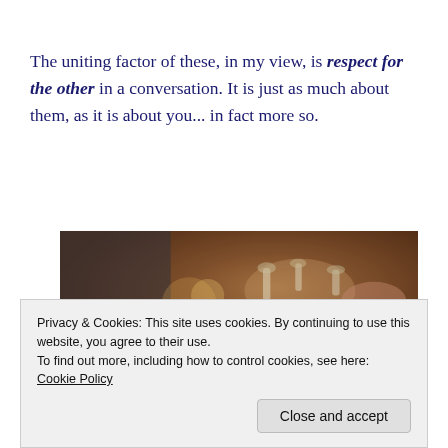The uniting factor of these, in my view, is respect for the other in a conversation. It is just as much about them, as it is about you... in fact more so.
[Figure (photo): A group of diverse people clinking glasses in a toast at a social gathering, with a warm brick background and candlelight ambiance.]
Privacy & Cookies: This site uses cookies. By continuing to use this website, you agree to their use.
To find out more, including how to control cookies, see here: Cookie Policy